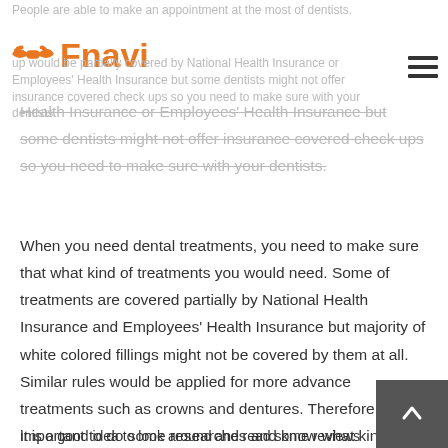People are able to make an appointment at the most of dentists.
[Figure (logo): Fnavi logo with handshake icon in orange]
up would be partially covered by National Health Insurance or Employees' Health Insurance but some dentists might not offer insurance covered check ups so you need to make sure with your dentists.
When you need dental treatments, you need to make sure that what kind of treatments you would need. Some of treatments are covered partially by National Health Insurance and Employees' Health Insurance but majority of white colored fillings might not be covered by them at all. Similar rules would be applied for more advance treatments such as crowns and dentures. Therefore, it is important to do some researches and know what kind of treatments are available at your dentists  and which one you want to have.
It is a good idea to look around and read some reviews of